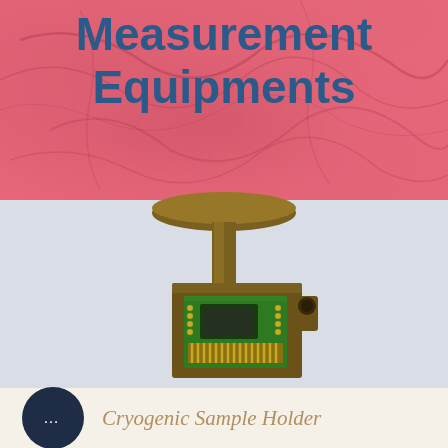Measurement Equipments
[Figure (illustration): 3D rendering of a Cryogenic Sample Holder — a dark olive/brown metallic device with a circular top flange connected by a rod to a rectangular block housing a green circuit board with gold contact pads and a dark central chip cavity, shown against a light gray background.]
Cryogenic Sample Holder